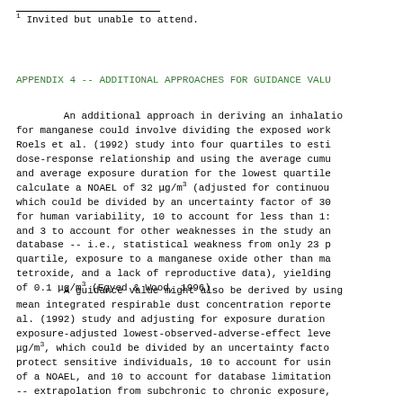1 Invited but unable to attend.
APPENDIX 4 -- ADDITIONAL APPROACHES FOR GUIDANCE VALU
An additional approach in deriving an inhalation for manganese could involve dividing the exposed work Roels et al. (1992) study into four quartiles to esti dose-response relationship and using the average cumu and average exposure duration for the lowest quartile calculate a NOAEL of 32 μg/m3 (adjusted for continuou which could be divided by an uncertainty factor of 30 for human variability, 10 to account for less than 1: and 3 to account for other weaknesses in the study an database -- i.e., statistical weakness from only 23 p quartile, exposure to a manganese oxide other than ma tetroxide, and a lack of reproductive data), yielding of 0.1 μg/m3 (Egyed & Wood, 1996).
A guidance value might also be derived by using mean integrated respirable dust concentration reporte al. (1992) study and adjusting for exposure duration exposure-adjusted lowest-observed-adverse-effect leve μg/m3, which could be divided by an uncertainty facto protect sensitive individuals, 10 to account for usin of a NOAEL, and 10 to account for database limitation -- extrapolation from subchronic to chronic exposure,